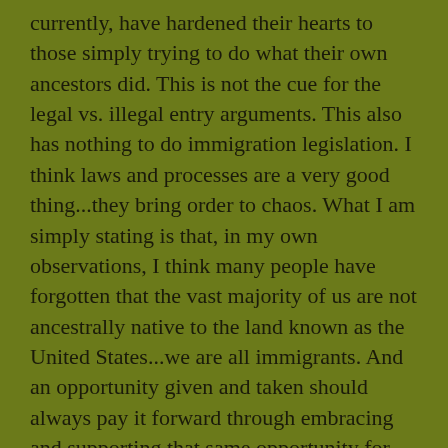currently, have hardened their hearts to those simply trying to do what their own ancestors did. This is not the cue for the legal vs. illegal entry arguments. This also has nothing to do immigration legislation. I think laws and processes are a very good thing...they bring order to chaos. What I am simply stating is that, in my own observations, I think many people have forgotten that the vast majority of us are not ancestrally native to the land known as the United States...we are all immigrants. And an opportunity given and taken should always pay it forward through embracing and supporting that same opportunity for others.
I often think about the courage it took for my grandparents to leave their native Italy for the shores of America. I guess when you have nothing to lose...risks